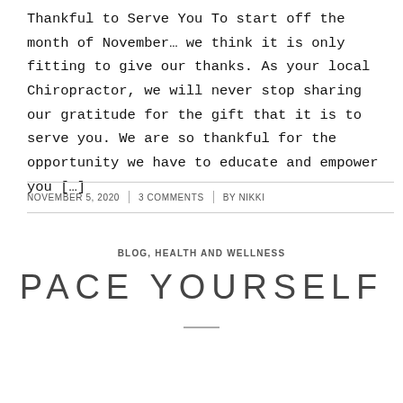Thankful to Serve You To start off the month of November… we think it is only fitting to give our thanks. As your local Chiropractor, we will never stop sharing our gratitude for the gift that it is to serve you. We are so thankful for the opportunity we have to educate and empower you […]
NOVEMBER 5, 2020 | 3 COMMENTS | BY NIKKI
BLOG, HEALTH AND WELLNESS
PACE YOURSELF